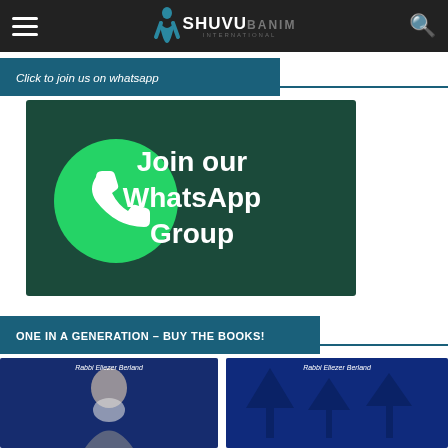SHUVU BANIM International
Click to join us on whatsapp
[Figure (illustration): WhatsApp group join banner: dark green background with WhatsApp logo (green circle with white phone icon) on left, white bold text reading 'Join our WhatsApp Group' on right]
ONE IN A GENERATION – BUY THE BOOKS!
[Figure (photo): Book cover: Rabbi Eliezer Berland, showing elderly rabbi with white beard, blue-toned cover]
[Figure (photo): Book cover: Rabbi Eliezer Berland, blue-toned cover with outdoor scene]